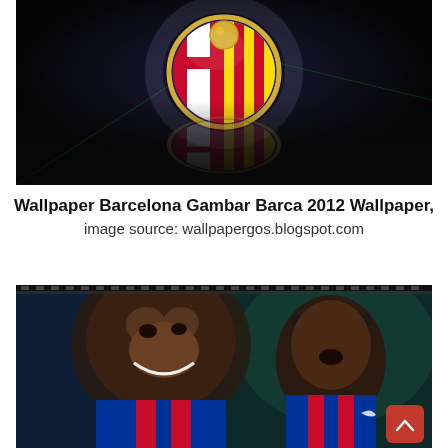[Figure (photo): FC Barcelona crest/logo wallpaper on a dark black background with glowing light effects and a reflection of the badge below]
Wallpaper Barcelona Gambar Barca 2012 Wallpaper, image source: wallpapergos.blogspot.com
[Figure (photo): Two photos of Ronaldinho: closeup smiling face on the left and action shot in FC Barcelona red-blue kit on the right, on a teal/dark blue background]